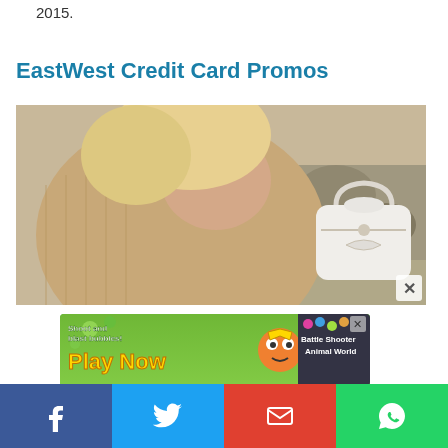2015.
EastWest Credit Card Promos
[Figure (photo): Woman holding a white handbag, wearing a beige knit sweater, rocks in background]
[Figure (screenshot): Advertisement banner: 'Shoot and blast bubbles! Play Now — Battle Shooter Animal World' with cartoon characters]
[Figure (infographic): Social media share bar with Facebook, Twitter, Email, and WhatsApp buttons]